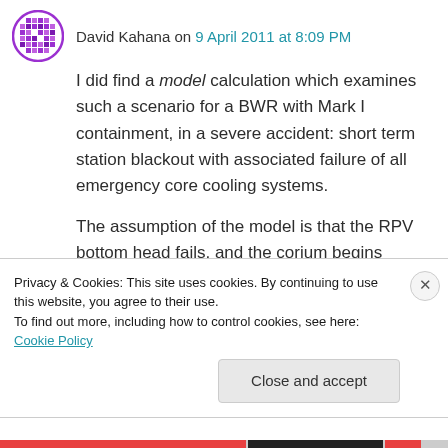David Kahana on 9 April 2011 at 8:09 PM
I did find a model calculation which examines such a scenario for a BWR with Mark I containment, in a severe accident: short term station blackout with associated failure of all emergency core cooling systems.
The assumption of the model is that the RPV bottom head fails, and the corium begins pouring out onto the dry floor of the containment starting
Privacy & Cookies: This site uses cookies. By continuing to use this website, you agree to their use.
To find out more, including how to control cookies, see here: Cookie Policy